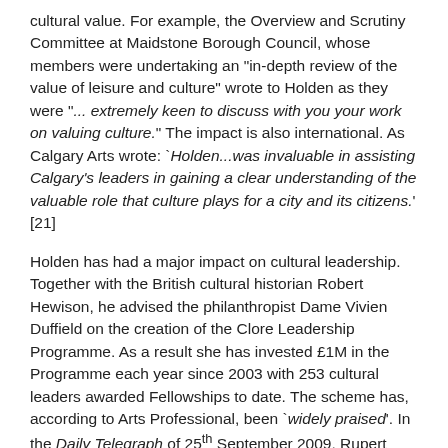cultural value. For example, the Overview and Scrutiny Committee at Maidstone Borough Council, whose members were undertaking an "in-depth review of the value of leisure and culture" wrote to Holden as they were "... extremely keen to discuss with you your work on valuing culture." The impact is also international. As Calgary Arts wrote: `Holden...was invaluable in assisting Calgary's leaders in gaining a clear understanding of the valuable role that culture plays for a city and its citizens.' [21]
Holden has had a major impact on cultural leadership. Together with the British cultural historian Robert Hewison, he advised the philanthropist Dame Vivien Duffield on the creation of the Clore Leadership Programme. As a result she has invested £1M in the Programme each year since 2003 with 253 cultural leaders awarded Fellowships to date. The scheme has, according to Arts Professional, been `widely praised'. In the Daily Telegraph of 25th September 2009, Rupert Christiansen wrote that: `A major agency of improvement has been the Clore Leadership Programme...devised by John Holden and Robert Hewison.' [22]
Beneficiaries of the activities listed here include government